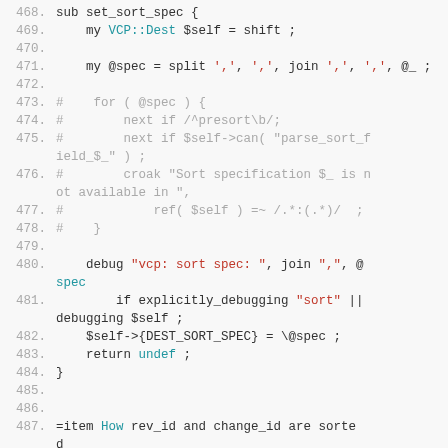[Figure (screenshot): Source code listing (Perl) showing lines 468-487 with syntax highlighting. Line numbers in gray on left, code on right with keywords in teal, strings in red, comments in gray, and normal code in dark gray.]